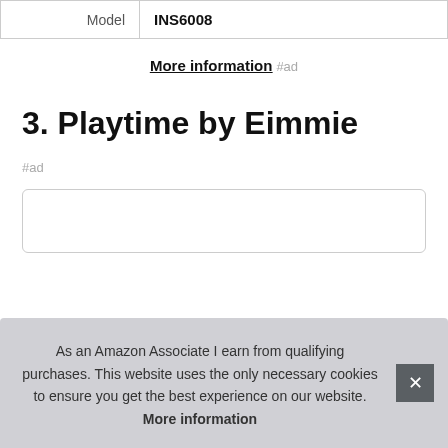| Model | INS6008 |
More information #ad
3. Playtime by Eimmie
#ad
As an Amazon Associate I earn from qualifying purchases. This website uses the only necessary cookies to ensure you get the best experience on our website. More information